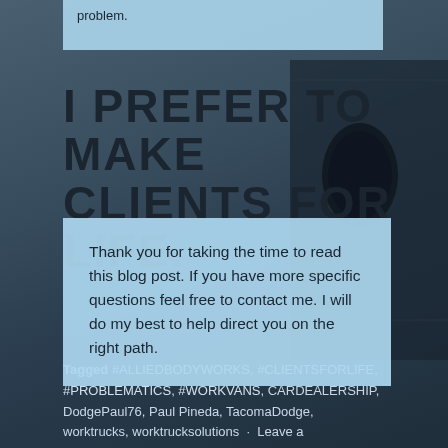problem.
I PREFER TO MAKE CLIENTS FOR LIFE.
Thank you for taking the time to read this blog post. If you have more specific questions feel free to contact me. I will do my best to help direct you on the right path.
Tagged #ALLIEDBODYWORKS, #CLIENTSFORLIFE, #PROBLEMATICS, #WORKVANS, CARDEALERSHIP, DodgePaul76, Paul Pineda, TacomaDodge, worktrucks, worktrucksolutions · Leave a